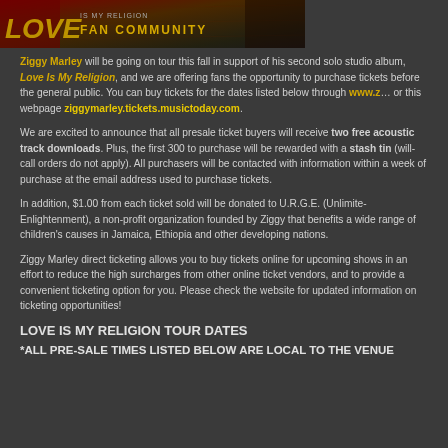[Figure (illustration): Banner image for 'Love Is My Religion Fan Community' with dark red/orange background and stylized text]
Ziggy Marley will be going on tour this fall in support of his second solo studio album, Love Is My Religion, and we are offering fans the opportunity to purchase tickets before the general public. You can buy tickets for the dates listed below through www.z... or this webpage ziggymarley.tickets.musictoday.com.
We are excited to announce that all presale ticket buyers will receive two free acoustic track downloads. Plus, the first 300 to purchase will be rewarded with a stash tin (will-call orders do not apply). All purchasers will be contacted with information within a week of purchase at the email address used to purchase tickets.
In addition, $1.00 from each ticket sold will be donated to U.R.G.E. (Unlimited... Enlightenment), a non-profit organization founded by Ziggy that benefits a wide range of children's causes in Jamaica, Ethiopia and other developing nations.
Ziggy Marley direct ticketing allows you to buy tickets online for upcoming shows in an effort to reduce the high surcharges from other online ticket vendors, and to provide a convenient ticketing option for you. Please check the website for updated information on ticketing opportunities!
LOVE IS MY RELIGION TOUR DATES
*ALL PRE-SALE TIMES LISTED BELOW ARE LOCAL TO THE VENUE